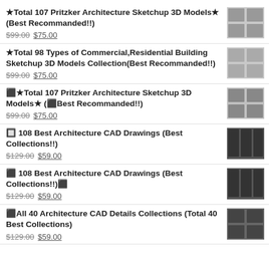★Total 107 Pritzker Architecture Sketchup 3D Models★ (Best Recommanded!!) $99.00 $75.00
★Total 98 Types of Commercial,Residential Building Sketchup 3D Models Collection(Best Recommanded!!) $99.00 $75.00
⬛★Total 107 Pritzker Architecture Sketchup 3D Models★ (⬛Best Recommanded!!) $99.00 $75.00
🔲 108 Best Architecture CAD Drawings (Best Collections!!) $129.00 $59.00
⬛  108 Best Architecture CAD Drawings (Best Collections!!)⬛ $129.00 $59.00
⬛All 40 Architecture CAD Details Collections (Total 40 Best Collections) $129.00 $59.00